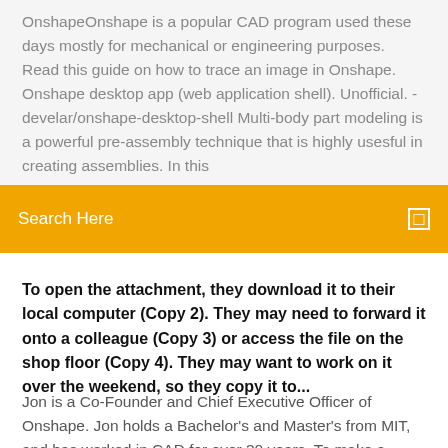OnshapeOnshape is a popular CAD program used these days mostly for mechanical or engineering purposes. Read this guide on how to trace an image in Onshape. Onshape desktop app (web application shell). Unofficial. - develar/onshape-desktop-shell Multi-body part modeling is a powerful pre-assembly technique that is highly usesful in creating assemblies. In this
Search Here
To open the attachment, they download it to their local computer (Copy 2). They may need to forward it onto a colleague (Copy 3) or access the file on the shop floor (Copy 4). They may want to work on it over the weekend, so they copy it to...
Jon is a Co-Founder and Chief Executive Officer of Onshape. Jon holds a Bachelor's and Master's from MIT, and has worked in CAD for over 30 years. To make a design change, your only option is to email your comments back to the office and hope that an engineer is available to act on your request. Scan2CAD's